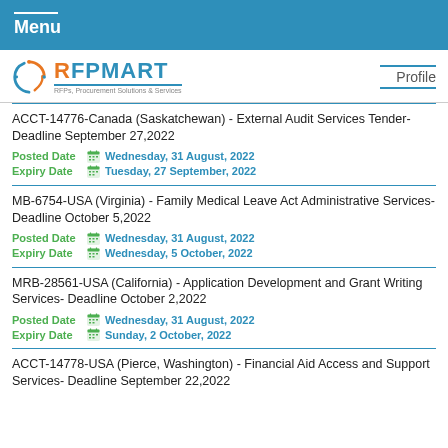Menu
[Figure (logo): RFPMART logo with tagline RFPs, Procurement Solutions & Services]
ACCT-14776-Canada (Saskatchewan) - External Audit Services Tender- Deadline September 27,2022
Posted Date  Wednesday, 31 August, 2022
Expiry Date  Tuesday, 27 September, 2022
MB-6754-USA (Virginia) - Family Medical Leave Act Administrative Services- Deadline October 5,2022
Posted Date  Wednesday, 31 August, 2022
Expiry Date  Wednesday, 5 October, 2022
MRB-28561-USA (California) - Application Development and Grant Writing Services- Deadline October 2,2022
Posted Date  Wednesday, 31 August, 2022
Expiry Date  Sunday, 2 October, 2022
ACCT-14778-USA (Pierce, Washington) - Financial Aid Access and Support Services- Deadline September 22,2022